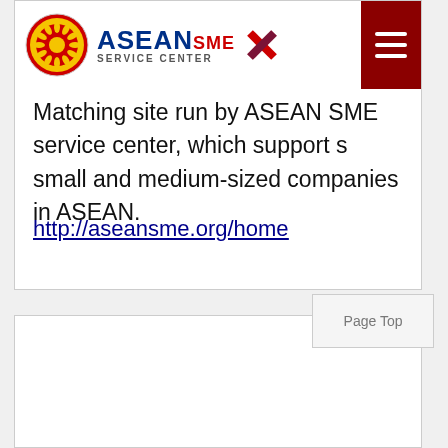[Figure (logo): ASEAN SME Service Center logo with circular ASEAN emblem and red cross SME icon, alongside dark navy ASEAN text and SERVICE CENTER subtitle]
Matching site run by ASEAN SME service center, which support s small and medium-sized companies in ASEAN.
http://aseansme.org/home
Page Top
TAIWAN Trade
[Figure (logo): Taiwantrade logo — partial view showing black circular shape and yellow/black stylized text]